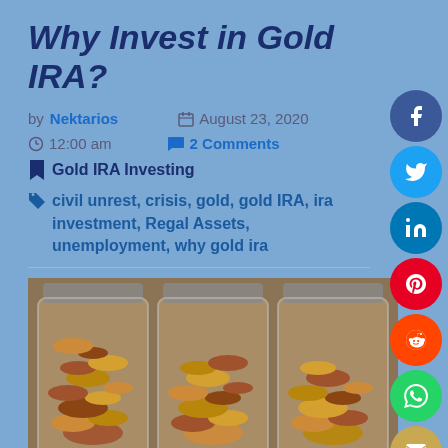Why Invest in Gold IRA?
by Nektarios   August 23, 2020
12:00 am   2 Comments
Gold IRA Investing
civil unrest, crisis, gold, gold IRA, ira investment, Regal Assets, unemployment, why gold ira
[Figure (photo): Three glass jars filled with various coins of different sizes and colors, photographed from the front against a light background.]